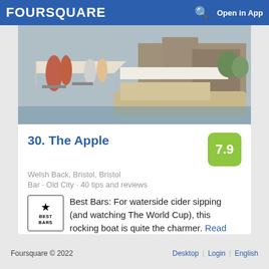FOURSQUARE   Open in App
[Figure (photo): Outdoor waterside venue photo showing people at a bar/restaurant with a boat, awnings, and buildings in the background on a sunny day.]
30. The Apple
Welsh Back, Bristol, Bristol
Bar · Old City · 40 tips and reviews
Best Bars: For waterside cider sipping (and watching The World Cup), this rocking boat is quite the charmer. Read more.
Foursquare © 2022    Desktop | Login | English